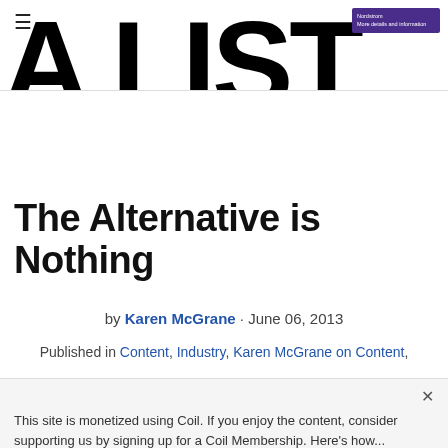A LIST (logo/banner)
The Alternative is Nothing
by Karen McGrane · June 06, 2013
Published in Content, Industry, Karen McGrane on Content,
This site is monetized using Coil. If you enjoy the content, consider supporting us by signing up for a Coil Membership. Here's how...
Get Coil to access